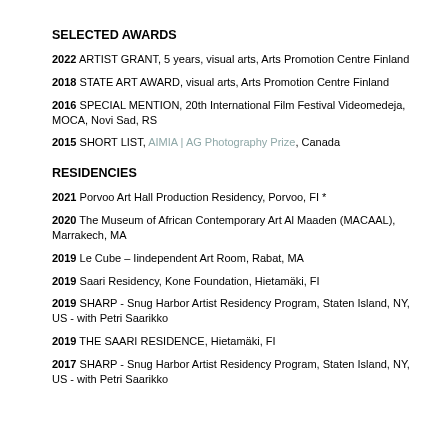SELECTED AWARDS
2022 ARTIST GRANT, 5 years, visual arts, Arts Promotion Centre Finland
2018 STATE ART AWARD, visual arts, Arts Promotion Centre Finland
2016 SPECIAL MENTION, 20th International Film Festival Videomedeja, MOCA, Novi Sad, RS
2015 SHORT LIST, AIMIA | AG Photography Prize, Canada
RESIDENCIES
2021 Porvoo Art Hall Production Residency, Porvoo, FI *
2020 The Museum of African Contemporary Art Al Maaden (MACAAL), Marrakech, MA
2019 Le Cube – Iindependent Art Room, Rabat, MA
2019 Saari Residency, Kone Foundation, Hietamäki, FI
2019 SHARP - Snug Harbor Artist Residency Program, Staten Island, NY, US - with Petri Saarikko
2019 THE SAARI RESIDENCE, Hietamäki, FI
2017 SHARP - Snug Harbor Artist Residency Program, Staten Island, NY, US - with Petri Saarikko